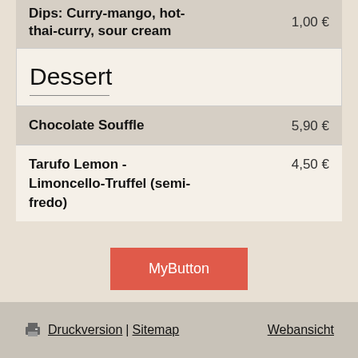Dips: Curry-mango, hot-thai-curry, sour cream — 1,00 €
Dessert
Chocolate Souffle — 5,90 €
Tarufo Lemon - Limoncello-Truffel (semi-fredo) — 4,50 €
MyButton
Druckversion | Sitemap   Webansicht